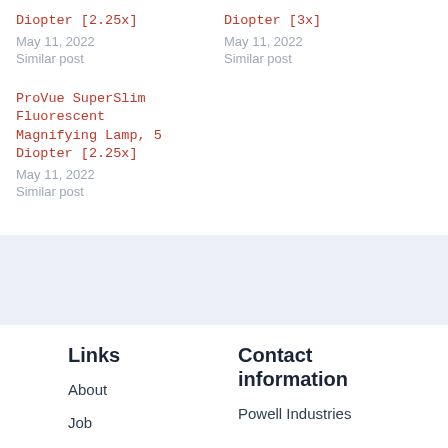Diopter [2.25x]
May 11, 2022
Similar post
Diopter [3x]
May 11, 2022
Similar post
ProVue SuperSlim Fluorescent Magnifying Lamp, 5 Diopter [2.25x]
May 11, 2022
Similar post
Links
About
Job
Contact information
Powell Industries